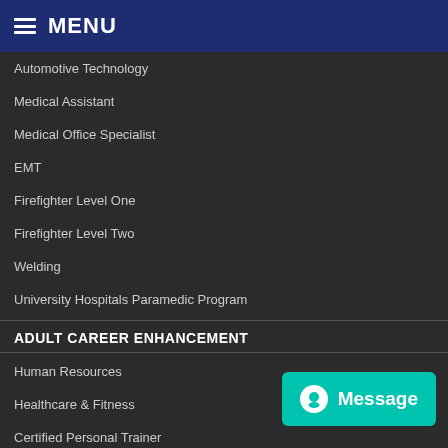MENU
Automotive Technology
Medical Assistant
Medical Office Specialist
EMT
Firefighter Level One
Firefighter Level Two
Welding
University Hospitals Paramedic Program
ADULT CAREER ENHANCEMENT
Human Resources
Healthcare & Fitness
Certified Personal Trainer
Trade & Industry
Safety Classes
Automotive Technology